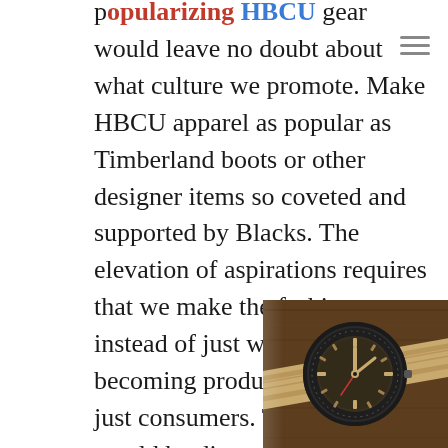popularizing HBCU gear would leave no doubt about what culture we promote. Make HBCU apparel as popular as Timberland boots or other designer items so coveted and supported by Blacks. The elevation of aspirations requires that we make the fashion instead of just wearing it, becoming producers instead of just consumers. The impact would be directed towards achieving the goal we so willingly protest for but are unwilling to support using our economic muscle.
The resulting entrepreneurial initiative and investment would ensure a vibrant ecosystem of prosperity similar to Black Wallstreet, providing allowances for student subsidies, facility improvements, and overall Black
[Figure (photo): A vintage watch with a dark face and bezel on a tan/khaki NATO strap, photographed on a wooden surface. The watch appears to be a military or dive-style timepiece.]